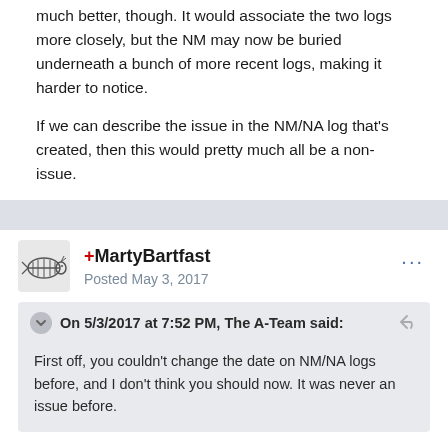much better, though. It would associate the two logs more closely, but the NM may now be buried underneath a bunch of more recent logs, making it harder to notice.
If we can describe the issue in the NM/NA log that's created, then this would pretty much all be a non-issue.
+MartyBartfast
Posted May 3, 2017
On 5/3/2017 at 7:52 PM, The A-Team said:
First off, you couldn't change the date on NM/NA logs before, and I don't think you should now. It was never an issue before.
I don't mean change the date once the NM log has been posted, I mean change the date when writing the NM to the correct date whereas now the NM log is posted automatically by the system and we have no control over